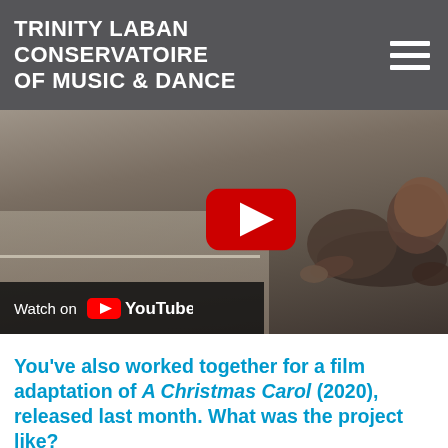TRINITY LABAN CONSERVATOIRE OF MUSIC & DANCE
[Figure (screenshot): YouTube video thumbnail showing a dancer lying on a studio floor, with a red YouTube play button overlay and a 'Watch on YouTube' bar at the bottom left.]
You’ve also worked together for a film adaptation of A Christmas Carol (2020), released last month. What was the project like?